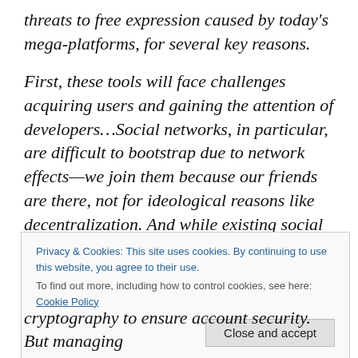threats to free expression caused by today's mega-platforms, for several key reasons.
First, these tools will face challenges acquiring users and gaining the attention of developers…Social networks, in particular, are difficult to bootstrap due to network effects—we join them because our friends are there, not for ideological reasons like decentralization. And while existing social networks have perfected their interfaces based on feedback from millions of users, new social networks are often challenging for new users to navigate.
Privacy & Cookies: This site uses cookies. By continuing to use this website, you agree to their use. To find out more, including how to control cookies, see here: Cookie Policy
cryptography to ensure account security. But managing